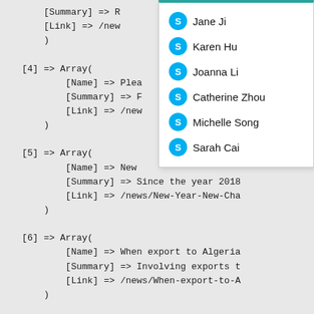Code block showing PHP array data with keys [Summary], [Link], [4], [Name], [Summary], [Link], [5], [Name], [Summary], [Link], [6], [Name], [Summary], [Link], [7], [Name], [Summary], [Link]
[Figure (other): Dropdown/autocomplete popup with Skype-style avatars listing: Jane Ji, Karen Hu, Joanna Li, Catherine Zhou, Michelle Song, Sarah Cai]